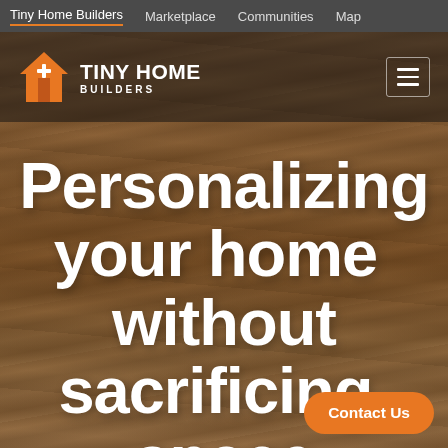Tiny Home Builders | Marketplace | Communities | Map
[Figure (screenshot): Website screenshot showing Tiny Home Builders logo with orange house icon on a dark semi-transparent header bar over a wood texture background]
Personalizing your home without sacrificing space
Contact Us